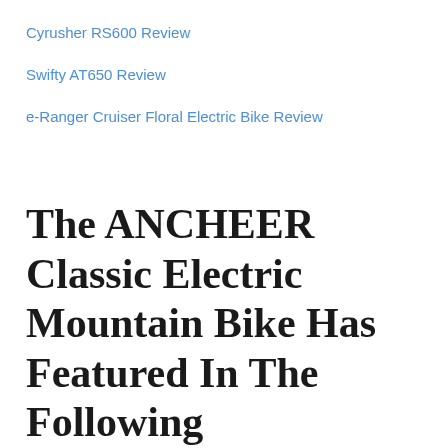Cyrusher RS600 Review
Swifty AT650 Review
e-Ranger Cruiser Floral Electric Bike Review
The ANCHEER Classic Electric Mountain Bike Has Featured In The Following